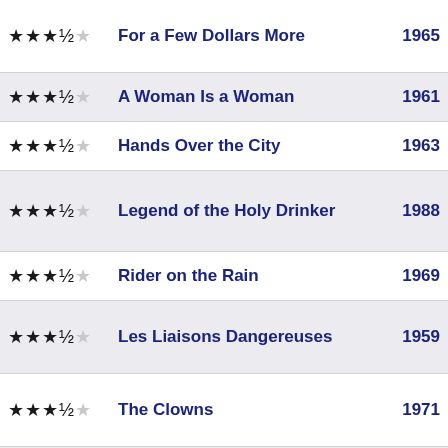For a Few Dollars More 1965 ★★★½☆
A Woman Is a Woman 1961 ★★★½☆
Hands Over the City 1963 ★★★½☆
Legend of the Holy Drinker 1988 ★★★½☆
Rider on the Rain 1969 ★★★½☆
Les Liaisons Dangereuses 1959 ★★★½☆
The Clowns 1971 ★★★½☆
Seduced and Abandoned 1964 ★★★½☆
Certified Copy 2010 ★★★½☆